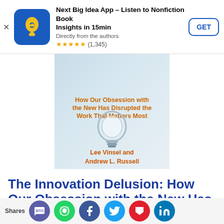[Figure (screenshot): App store ad banner for Next Big Idea App with icon, title, subtitle, star rating (1,345), and GET button]
[Figure (illustration): Book cover for The Innovation Delusion by Lee Vinsel and Andrew L. Russell, showing lightbulb on blue-grey background with orange subtitle text]
The Innovation Delusion: How Our Obsession with the New Has Disrupted the Work That Matters Most
By Lee Vinsel and Andrew L. Russell
[Figure (screenshot): Social sharing bar showing Shares label and circular share buttons: SMS, WhatsApp, Facebook, Twitter, Pocket, LinkedIn with partial text visible]